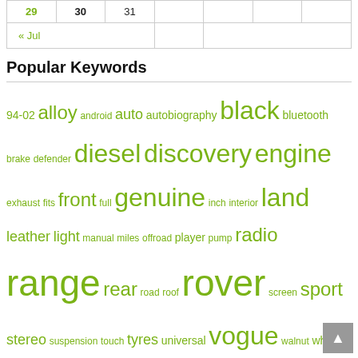| 29 | 30 | 31 |  |  |  |  |
| « Jul |  |  |  |  |  |  |
Popular Keywords
94-02 alloy android auto autobiography black bluetooth brake defender diesel discovery engine exhaust fits front full genuine inch interior land leather light manual miles offroad player pump radio range rear road roof rover screen sport stereo suspension touch tyres universal vogue walnut wheel wheels wifi
Recent Search
rover p38 headlining material
range rover p38 air suspension emergency
rover p38 interior and seats
range rover p38 floor insulation